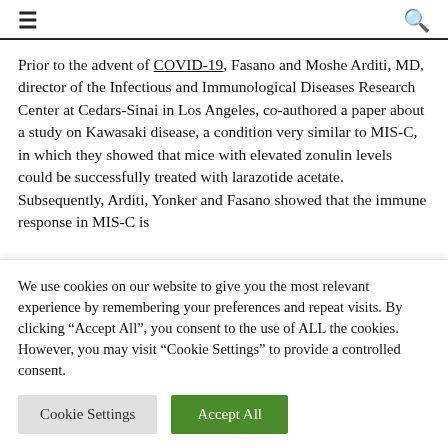≡  🔍
Prior to the advent of COVID-19, Fasano and Moshe Arditi, MD, director of the Infectious and Immunological Diseases Research Center at Cedars-Sinai in Los Angeles, co-authored a paper about a study on Kawasaki disease, a condition very similar to MIS-C, in which they showed that mice with elevated zonulin levels could be successfully treated with larazotide acetate. Subsequently, Arditi, Yonker and Fasano showed that the immune response in MIS-C is
We use cookies on our website to give you the most relevant experience by remembering your preferences and repeat visits. By clicking "Accept All", you consent to the use of ALL the cookies. However, you may visit "Cookie Settings" to provide a controlled consent.